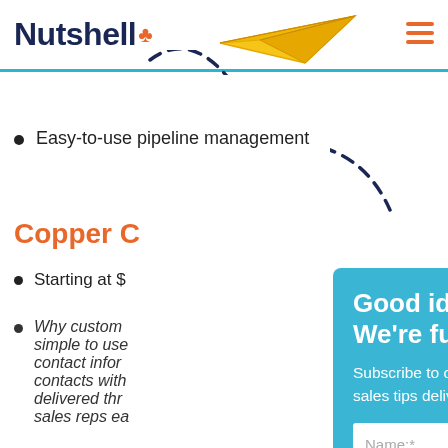Nutshell
[Figure (illustration): Yellow paper airplane illustration in top-center area of the header]
[Figure (illustration): Dashed curved arc/loop drawn over the header area]
Easy-to-use pipeline management
Copper C
Starting at $
Why custom simple to use contact infor contacts with delivered thr sales reps ea (italic text)
[Figure (screenshot): Modal popup overlay with blue background. Title: Good ideas? We're full of 'em. Body: Subscribe to our Sell to Win newsletter for fresh sales tips delivered to your inbox. Input fields: Name:* and Email:*. Button: SIGN UP. Close button (x) in top right corner.]